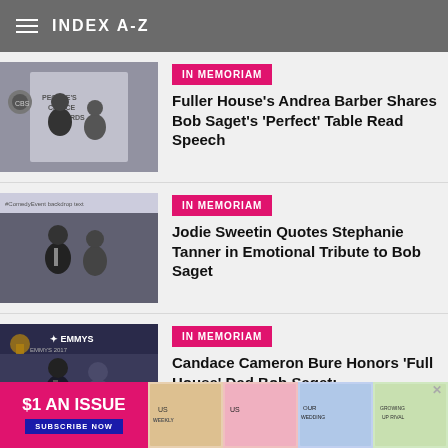INDEX A-Z
[Figure (photo): Two people posing at a People's Choice Awards / CBS event backdrop]
IN MEMORIAM
Fuller House's Andrea Barber Shares Bob Saget's 'Perfect' Table Read Speech
[Figure (photo): Two people posing at a comedy event backdrop]
IN MEMORIAM
Jodie Sweetin Quotes Stephanie Tanner in Emotional Tribute to Bob Saget
[Figure (photo): Two people posing at Emmys event backdrop]
IN MEMORIAM
Candace Cameron Bure Honors 'Full House' Dad Bob Saget:
[Figure (other): Advertisement banner: $1 AN ISSUE - SUBSCRIBE NOW with magazine covers]